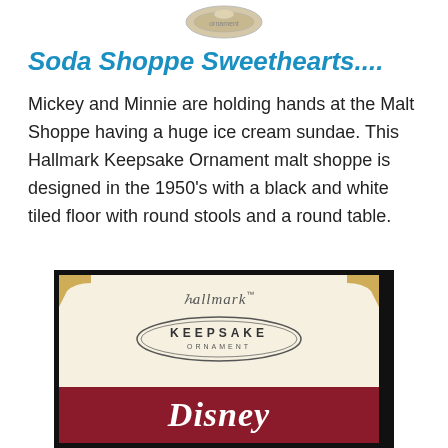[Figure (photo): Partial view of an ornament or decorative object at the top of the page]
Soda Shoppe Sweethearts....
Mickey and Minnie are holding hands at the Malt Shoppe having a huge ice cream sundae. This Hallmark Keepsake Ornament malt shoppe is designed in the 1950's with a black and white tiled floor with round stools and a round table.
[Figure (photo): Hallmark Keepsake Ornament box packaging showing the Hallmark logo, Keepsake Ornament oval logo, and Disney branding on a dark red banner at the bottom]